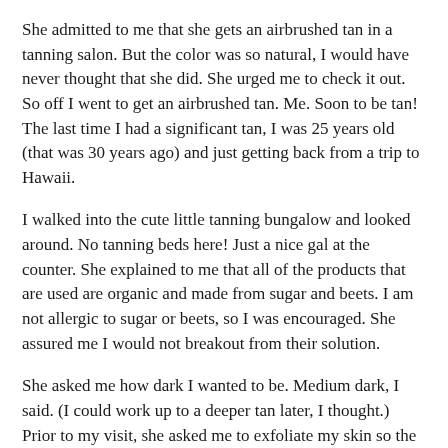She admitted to me that she gets an airbrushed tan in a tanning salon. But the color was so natural, I would have never thought that she did. She urged me to check it out. So off I went to get an airbrushed tan. Me. Soon to be tan! The last time I had a significant tan, I was 25 years old (that was 30 years ago) and just getting back from a trip to Hawaii.
I walked into the cute little tanning bungalow and looked around. No tanning beds here! Just a nice gal at the counter. She explained to me that all of the products that are used are organic and made from sugar and beets. I am not allergic to sugar or beets, so I was encouraged. She assured me I would not breakout from their solution.
She asked me how dark I wanted to be. Medium dark, I said. (I could work up to a deeper tan later, I thought.) Prior to my visit, she asked me to exfoliate my skin so the tan would be an even color. Freshly showered and exfoliated, I was ready.